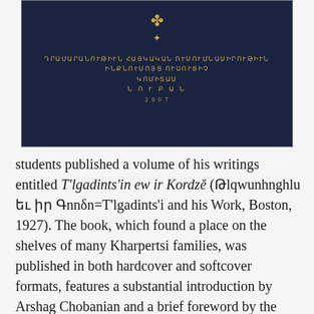[Figure (photo): Photograph of a dark navy blue hardcover book with Armenian script text and a gold decorative ornament on the cover, likely published in Boston, 1927.]
students published a volume of his writings entitled T'lgadints'in ew ir Kordzě (Թlqwunhnghlu եւ իր Գnnδn=T'lgadints'i and his Work, Boston, 1927). The book, which found a place on the shelves of many Kharpertsi families, was published in both hardcover and softcover formats, features a substantial introduction by Arshag Chobanian and a brief foreword by the chairman and secretary of the Union of Alumni of The district of...